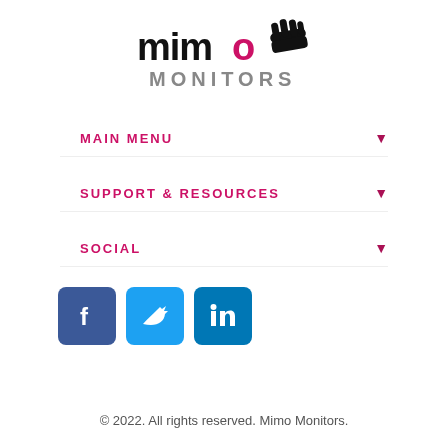[Figure (logo): Mimo Monitors logo with stylized text and hand icon]
MAIN MENU
SUPPORT & RESOURCES
SOCIAL
[Figure (illustration): Social media icons: Facebook, Twitter, LinkedIn]
© 2022. All rights reserved. Mimo Monitors.